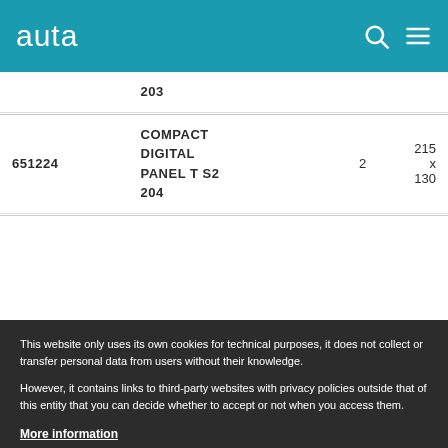auta
| Code | Name | Qty | Dimensions |
| --- | --- | --- | --- |
|  | 203 |  |  |
| 651224 | COMPACT DIGITAL PANEL T S2 204 | 2 | 215 x 130 |
This website only uses its own cookies for technical purposes, it does not collect or transfer personal data from users without their knowledge.
However, it contains links to third-party websites with privacy policies outside that of this entity that you can decide whether to accept or not when you access them.
More information
I agree